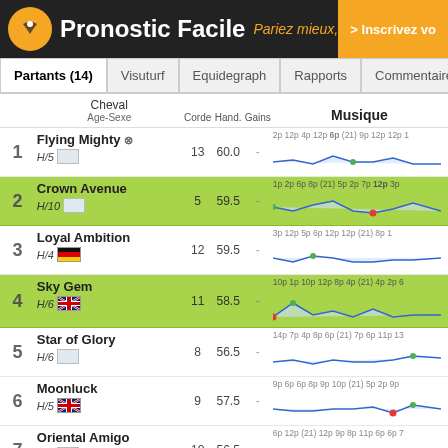Pronostic Facile — Pariez mieux, gagnez plus | > Inscrivez vo
Partants (14) | Visuturf | Equidegraph | Rapports | Commentaires Ze
|  | Cheval Age-Sexe | Corde | Hand. | Gains | Musique |
| --- | --- | --- | --- | --- | --- |
| 1 | Flying Mighty ⊗ H/5 | 13 | 60.0 | - | 2p 12p 4p 12p 6p (21) 9p 12p 12p |
| 2 | Crown Avenue H/10 | 5 | 59.5 | - | 1p 2p 6p 8p (21) 5p 2p 7p 12p 3p |
| 3 | Loyal Ambition H/4 | 12 | 59.5 | - | 3p 12p 5p 6p 12p 12p (21) 8p 1 |
| 4 | Sky Gem H/6 | 11 | 58.5 | - | 10p 1p 10p 12p 8p 4p (21) 4p 2p 6 |
| 5 | Star of Glory H/6 | 8 | 56.5 | - | 14p 7p 4p 8p 6p (21) 7p 6p 11p 13 |
| 6 | Moonluck H/5 | 9 | 57.5 | - | 9p 6p 6p 8p 9p 10p (21) 5p 2p 9p |
| 7 | Oriental Amigo H/7 | 10 | 56.5 | - | 6p 12p (21) 12p 9p 8p 11p 6p 6p 7 |